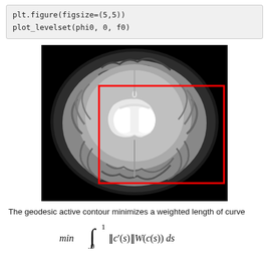plt.figure(figsize=(5,5))
plot_levelset(phi0, 0, f0)
[Figure (photo): Axial MRI brain scan (grayscale) on black background with a red rectangle overlaid on the central brain region as a level set contour initialization.]
The geodesic active contour minimizes a weighted length of curve